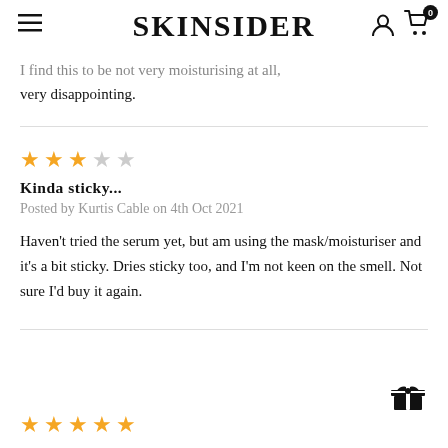SKINSIDER
I find this to be not very moisturising at all, very disappointing.
★★★☆☆
Kinda sticky...
Posted by Kurtis Cable on 4th Oct 2021
Haven't tried the serum yet, but am using the mask/moisturiser and it's a bit sticky. Dries sticky too, and I'm not keen on the smell. Not sure I'd buy it again.
★★★★★